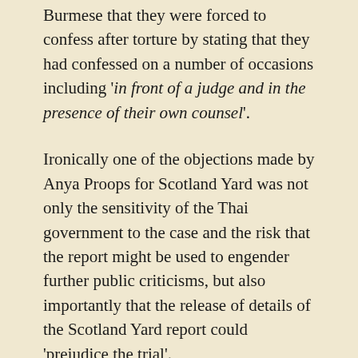Burmese that they were forced to confess after torture by stating that they had confessed on a number of occasions including 'in front of a judge and in the presence of their own counsel'.
Ironically one of the objections made by Anya Proops for Scotland Yard was not only the sensitivity of the Thai government to the case and the risk that the report might be used to engender further public criticisms, but also importantly that the release of details of the Scotland Yard report could 'prejudice the trial'.
The judge explained why he was troubled.